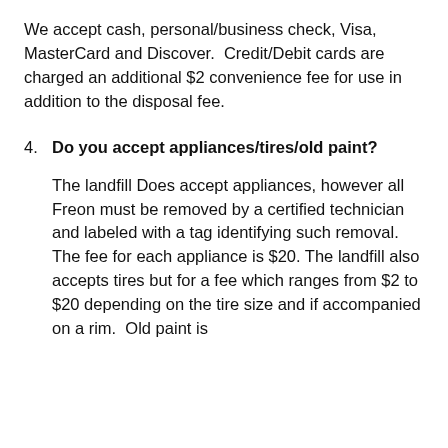We accept cash, personal/business check, Visa, MasterCard and Discover. Credit/Debit cards are charged an additional $2 convenience fee for use in addition to the disposal fee.
4. Do you accept appliances/tires/old paint?
The landfill Does accept appliances, however all Freon must be removed by a certified technician and labeled with a tag identifying such removal. The fee for each appliance is $20. The landfill also accepts tires but for a fee which ranges from $2 to $20 depending on the tire size and if accompanied on a rim. Old paint is